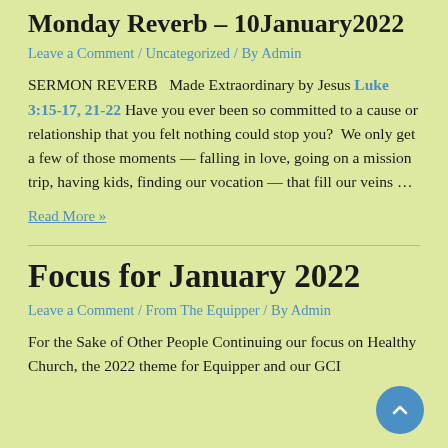Monday Reverb – 10January2022
Leave a Comment / Uncategorized / By Admin
SERMON REVERB   Made Extraordinary by Jesus Luke 3:15-17, 21-22 Have you ever been so committed to a cause or relationship that you felt nothing could stop you?  We only get a few of those moments — falling in love, going on a mission trip, having kids, finding our vocation — that fill our veins …
Read More »
Focus for January 2022
Leave a Comment / From The Equipper / By Admin
For the Sake of Other People Continuing our focus on Healthy Church, the 2022 theme for Equipper and our GCI